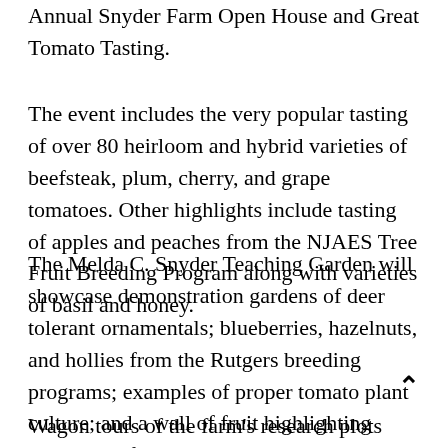Annual Snyder Farm Open House and Great Tomato Tasting.
The event includes the very popular tasting of over 80 heirloom and hybrid varieties of beefsteak, plum, cherry, and grape tomatoes. Other highlights include tasting of apples and peaches from the NJAES Tree Fruit Breeding Program along with varieties of basil and honey.
The Melda C. Snyder Teaching Garden will showcase demonstration gardens of deer tolerant ornamentals; blueberries, hazelnuts, and hollies from the Rutgers breeding programs; examples of proper tomato plant culture; and a wall of fruit highlighting apple trees for the home landscape.
Wagon tours of the farm's research plots will be held throughout the event. Chef demonstrations from...